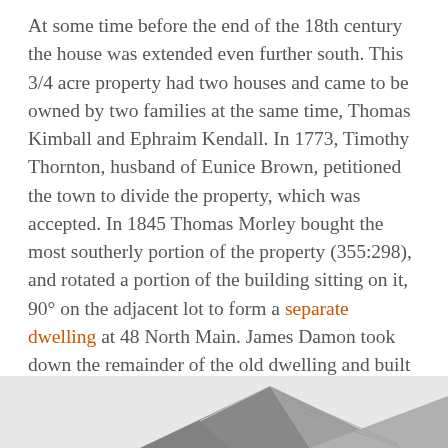At some time before the end of the 18th century the house was extended even further south. This 3/4 acre property had two houses and came to be owned by two families at the same time, Thomas Kimball and Ephraim Kendall. In 1773, Timothy Thornton, husband of Eunice Brown, petitioned the town to divide the property, which was accepted. In 1845 Thomas Morley bought the most southerly portion of the property (355:298), and rotated a portion of the building sitting on it, 90° on the adjacent lot to form a separate dwelling at 48 North Main. James Damon took down the remainder of the old dwelling and built the fine house at 46 North Main. In 1886 Harry K. Dodge took down the home of the widow Margaret Kendall and built the house at 44 North Main St.
[Figure (photo): Partial view of a house rooftop with gray siding, visible at the bottom of the page.]